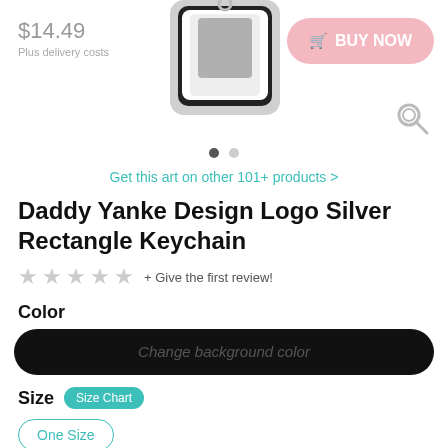$14.49
Plus delivery costs
[Figure (photo): Product photo of a silver rectangle keychain with Daddy Yanke design printed on it]
BUY NOW
Get this art on other 101+ products >
Daddy Yanke Design Logo Silver Rectangle Keychain
★★★★★ + Give the first review!
Color
Change background color
Size
Size Chart
One Size
Repeat Art